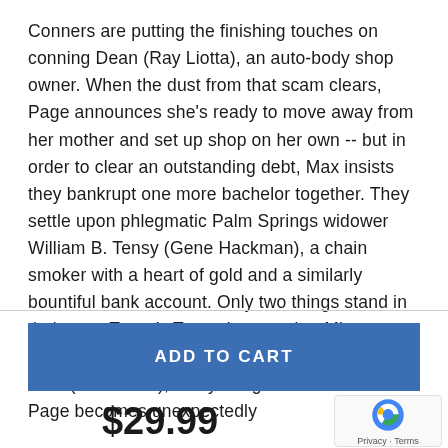Conners are putting the finishing touches on conning Dean (Ray Liotta), an auto-body shop owner. When the dust from that scam clears, Page announces she's ready to move away from her mother and set up shop on her own -- but in order to clear an outstanding debt, Max insists they bankrupt one more bachelor together. They settle upon phlegmatic Palm Springs widower William B. Tensy (Gene Hackman), a chain smoker with a heart of gold and a similarly bountiful bank account. Only two things stand in their way: Tensy's Teutonic caretaker Miss Madress (Nora Dunn) and beachfront bartender Jack (Jason Lee), a wry stargazer with whom Page becomes unexpectedly
ADD TO CART
$29.99